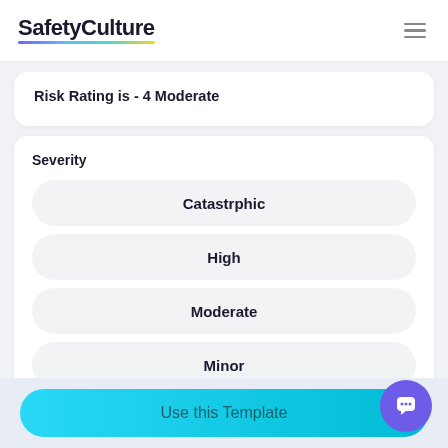SafetyCulture
Risk Rating is - 4 Moderate
Severity
Catastrphic
High
Moderate
Minor
Use this Template